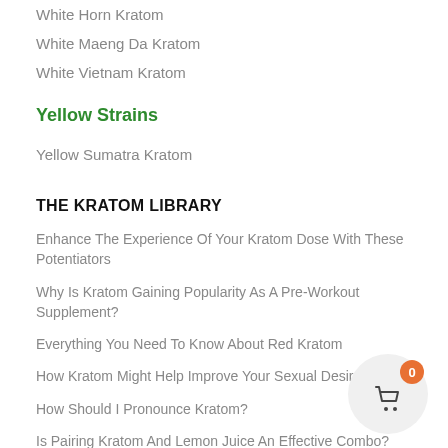White Horn Kratom
White Maeng Da Kratom
White Vietnam Kratom
Yellow Strains
Yellow Sumatra Kratom
THE KRATOM LIBRARY
Enhance The Experience Of Your Kratom Dose With These Potentiators
Why Is Kratom Gaining Popularity As A Pre-Workout Supplement?
Everything You Need To Know About Red Kratom
How Kratom Might Help Improve Your Sexual Desire
How Should I Pronounce Kratom?
Is Pairing Kratom And Lemon Juice An Effective Combo?